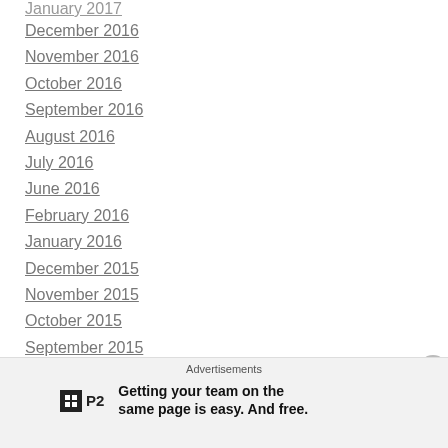January 2017
December 2016
November 2016
October 2016
September 2016
August 2016
July 2016
June 2016
February 2016
January 2016
December 2015
November 2015
October 2015
September 2015
August 2015
July 2015
Advertisements
Getting your team on the same page is easy. And free.